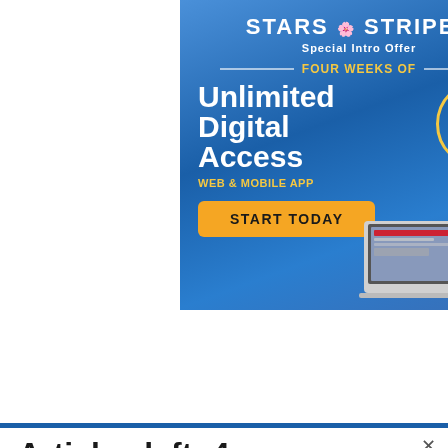[Figure (infographic): Stars and Stripes subscription advertisement. Blue background with text: Special Intro Offer, FOUR WEEKS OF (in gold), Unlimited Digital Access, WEB & MOBILE APP (in gold), START TODAY button (orange), ONE MONTH FREE TRIAL (in gold circle). Devices shown on right.]
[Figure (infographic): Commissary Click2Go advertisement. Dark background with green circle logo containing '2', text: COMMISSARY CLICK2GO, order groceries, PICK UP. Commissary round logo on right.]
Articles left: 4
Subscribe to get unlimited access  Subscribe
Already have an account?  Login here